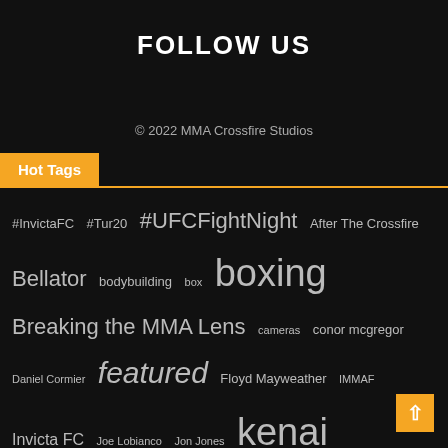FOLLOW US
© 2022 MMA Crossfire Studios
Hot Tags
#InvictaFC #Tur20 #UFCFightNight After The Crossfire
Bellator bodybuilding box boxing
Breaking the MMA Lens cameras conor mcgregor
Daniel Cormier featured Floyd Mayweather IMMAF
Invicta FC Joe Lobianco Jon Jones kenai andrews
kickbox mixed martial arts MMA
MMA Crossfire